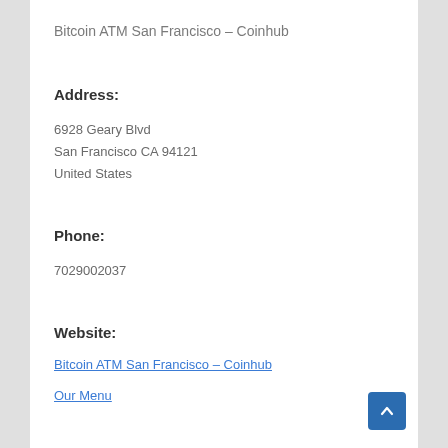Bitcoin ATM San Francisco – Coinhub
Address:
6928 Geary Blvd
San Francisco CA 94121
United States
Phone:
7029002037
Website:
Bitcoin ATM San Francisco – Coinhub
Our Menu